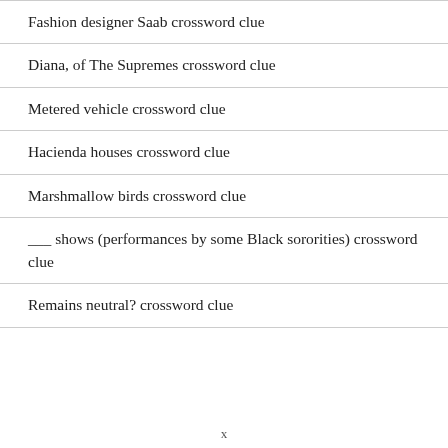Fashion designer Saab crossword clue
Diana, of The Supremes crossword clue
Metered vehicle crossword clue
Hacienda houses crossword clue
Marshmallow birds crossword clue
___ shows (performances by some Black sororities) crossword clue
Remains neutral? crossword clue
x